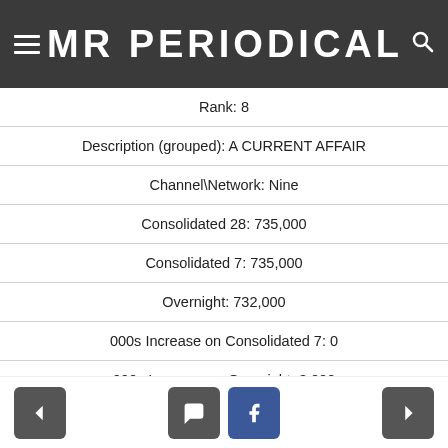MR PERIODICAL
| Rank: 8 |
| Description (grouped): A CURRENT AFFAIR |
| Channel\Network: Nine |
| Consolidated 28: 735,000 |
| Consolidated 7: 735,000 |
| Overnight: 732,000 |
| 000s Increase on Consolidated 7: 0 |
| 000s Increase on Overnight: 3,000 |
| Rank: 9 |
| Description (grouped): ABC NEWS-EV |
| Channel\Network: ABC |
< | search | facebook | >